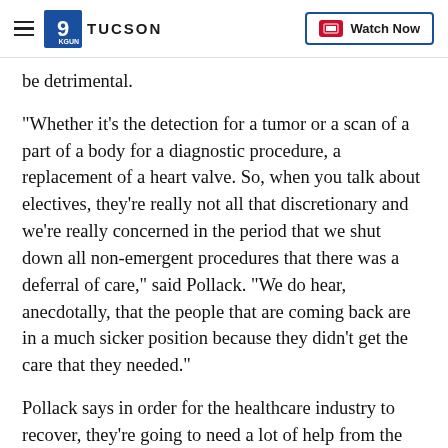9 TUCSON | Watch Now
be detrimental.
"Whether it's the detection for a tumor or a scan of a part of a body for a diagnostic procedure, a replacement of a heart valve. So, when you talk about electives, they're really not all that discretionary and we’re really concerned in the period that we shut down all non-emergent procedures that there was a deferral of care,” said Pollack. “We do hear, anecdotally, that the people that are coming back are in a much sicker position because they didn’t get the care that they needed.”
Pollack says in order for the healthcare industry to recover, they're going to need a lot of help from the